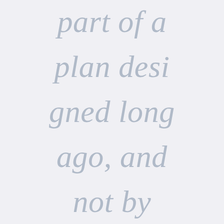part of a plan desi gned long ago, and not by